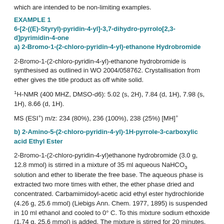which are intended to be non-limiting examples.
EXAMPLE 1
6-[2-((E)-Styryl)-pyridin-4-yl]-3,7-dihydro-pyrrolo[2,3-d]pyrimidin-4-one
a) 2-Bromo-1-(2-chloro-pyridin-4-yl)-ethanone Hydrobromide
2-Bromo-1-(2-chloro-pyridin-4-yl)-ethanone hydrobromide is synthesised as outlined in WO 2004/058762. Crystallisation from ether gives the title product as off white solid.
¹H-NMR (400 MHZ, DMSO-d6): 5.02 (s, 2H), 7.84 (d, 1H), 7.98 (s, 1H), 8.66 (d, 1H).
MS (ESI⁺) m/z: 234 (80%), 236 (100%), 238 (25%) [MH]⁺
b) 2-Amino-5-(2-chloro-pyridin-4-yl)-1H-pyrrole-3-carboxylic acid Ethyl Ester
2-Bromo-1-(2-chloro-pyridin-4-yl)ethanone hydrobromide (3.0 g, 12.8 mmol) is stirred in a mixture of 35 ml aqueous NaHCO₃ solution and ether to liberate the free base. The aqueous phase is extracted two more times with ether, the ether phase dried and concentrated. Carbamimidoyl-acetic acid ethyl ester hydrochloride (4.26 g, 25.6 mmol) (Liebigs Ann. Chem. 1977, 1895) is suspended in 10 ml ethanol and cooled to 0° C. To this mixture sodium ethoxide (1.74 g, 25.6 mmol) is added. The mixture is stirred for 20 minutes, then 2-bromo-1-(2-chloro-pyridin-4-yl)ethanone in 10 ml ethanol is